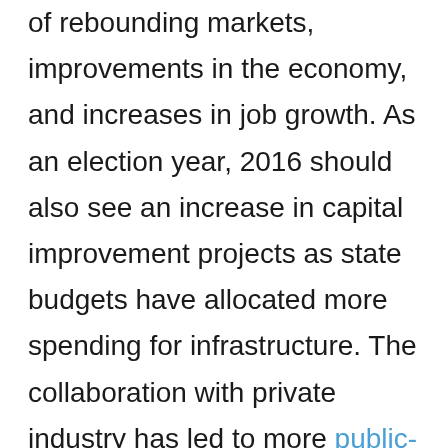This positive picture of the industry is indicative of rebounding markets, improvements in the economy, and increases in job growth. As an election year, 2016 should also see an increase in capital improvement projects as state budgets have allocated more spending for infrastructure. The collaboration with private industry has led to more public-private partnerships (P3) which enable government agencies to better afford large capital construction projects. P3 offers a broad array of